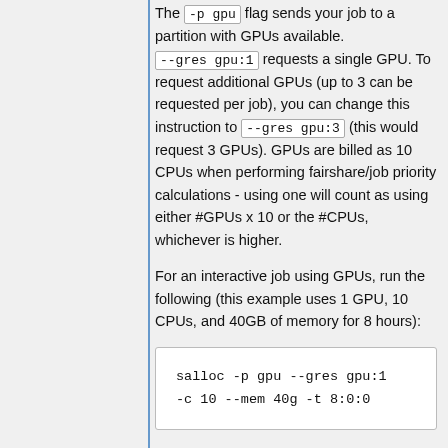The -p gpu flag sends your job to a partition with GPUs available. --gres gpu:1 requests a single GPU. To request additional GPUs (up to 3 can be requested per job), you can change this instruction to --gres gpu:3 (this would request 3 GPUs). GPUs are billed as 10 CPUs when performing fairshare/job priority calculations - using one will count as using either #GPUs x 10 or the #CPUs, whichever is higher.
For an interactive job using GPUs, run the following (this example uses 1 GPU, 10 CPUs, and 40GB of memory for 8 hours):
salloc -p gpu --gres gpu:1 -c 10 --mem 40g -t 8:0:0
Here is an example job that would run